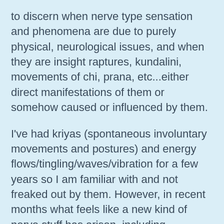to discern when nerve type sensation and phenomena are due to purely physical, neurological issues, and when they are insight raptures, kundalini, movements of chi, prana, etc...either direct manifestations of them or somehow caused or influenced by them.
I've had kriyas (spontaneous involuntary movements and postures) and energy flows/tingling/waves/vibration for a few years so I am familiar with and not freaked out by them. However, in recent months what feels like a new kind of nerve stuff has arisen, including numbness and burning pain, and in some cases the symptom patterns resemble that of medically established neurological problems.